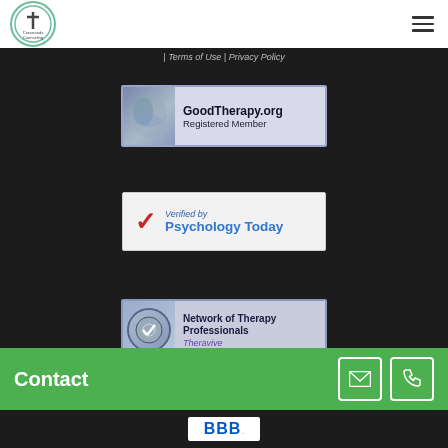Crossroads Counseling — navigation header with logo and hamburger menu
| Terms of Use | Privacy Policy
[Figure (logo): GoodTherapy.org Registered Member badge — blue/grey banner with logo on left and text 'GoodTherapy.org Registered Member' on right]
[Figure (logo): Verified by Psychology Today badge — white banner with red checkmark and 'Verified by Psychology Today' text in blue]
[Figure (logo): Network of Therapy Professionals Theravive badge — blue/grey banner with circular seal logo and text 'Network of Therapy Professionals Theravive']
Contact
[Figure (logo): BBB (Better Business Bureau) badge at the bottom]